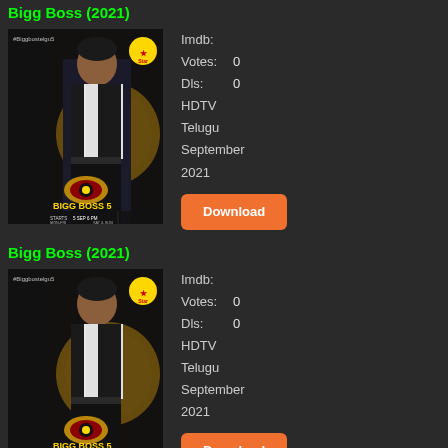Bigg Boss (2021)
[Figure (photo): Bigg Boss 5 Telugu show poster with host in black vest, Star network logo, show schedule details]
Imdb:
Votes: 0
Dls: 0
HDTV
Telugu
September
2021
Download
Bigg Boss (2021)
[Figure (photo): Bigg Boss 5 Telugu show poster with host in black vest, Star network logo, show schedule details]
Imdb:
Votes: 0
Dls: 0
HDTV
Telugu
September
2021
Download